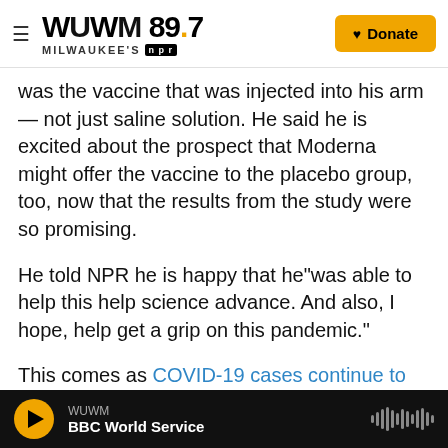WUWM 89.7 Milwaukee's NPR — Donate
was the vaccine that was injected into his arm — not just saline solution. He said he is excited about the prospect that Moderna might offer the vaccine to the placebo group, too, now that the results from the study were so promising.
He told NPR he is happy that he"was able to help this help science advance. And also, I hope, help get a grip on this pandemic."
This comes as COVID-19 cases continue to surge in the U.S. On Wednesday, the nation passed a devastating threshold: 250,000 people have now
WUWM — BBC World Service (audio player bar)